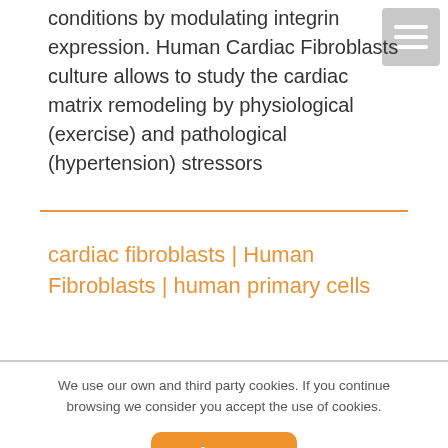conditions by modulating integrin expression. Human Cardiac Fibroblasts culture allows to study the cardiac matrix remodeling by physiological (exercise) and pathological (hypertension) stressors
cardiac fibroblasts | Human Fibroblasts | human primary cells
We use our own and third party cookies. If you continue browsing we consider you accept the use of cookies.